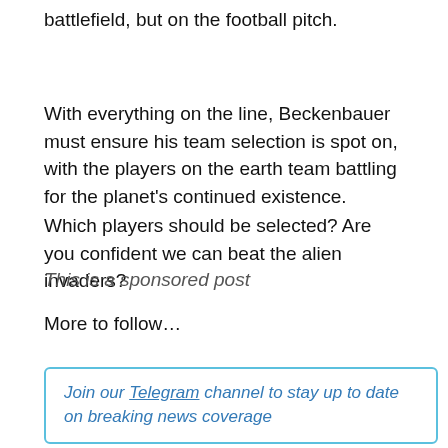battlefield, but on the football pitch.
With everything on the line, Beckenbauer must ensure his team selection is spot on, with the players on the earth team battling for the planet's continued existence.
Which players should be selected? Are you confident we can beat the alien invaders?
More to follow…
This is a sponsored post
Join our Telegram channel to stay up to date on breaking news coverage